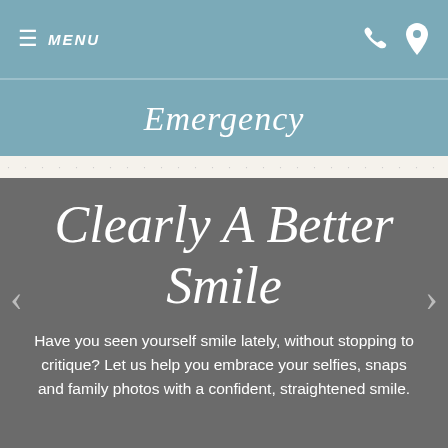≡ MENU
Emergency
Clearly A Better Smile
Have you seen yourself smile lately, without stopping to critique? Let us help you embrace your selfies, snaps and family photos with a confident, straightened smile.